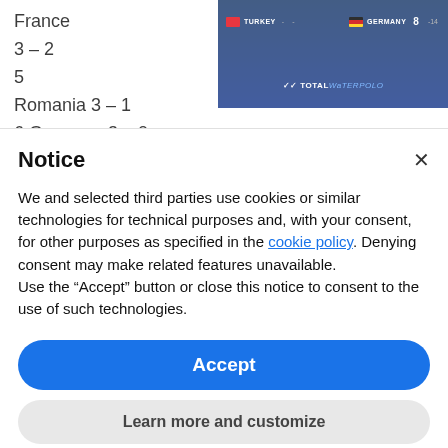France
3 – 2
5
Romania 3 – 1
6 Germany 3 – 0
[Figure (screenshot): Screenshot of a water polo scoreboard showing Turkey vs Germany match, with TotalWaterpolo logo, score 8 – 14]
Notice
We and selected third parties use cookies or similar technologies for technical purposes and, with your consent, for other purposes as specified in the cookie policy. Denying consent may make related features unavailable.
Use the "Accept" button or close this notice to consent to the use of such technologies.
Accept
Learn more and customize